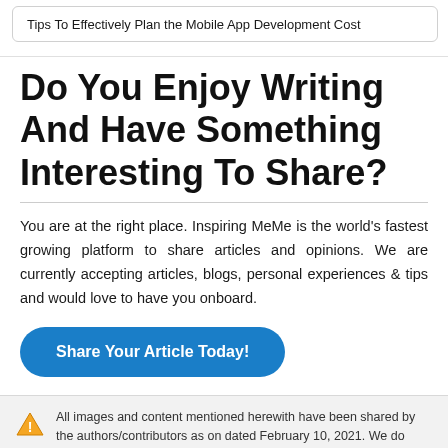Tips To Effectively Plan the Mobile App Development Cost
Do You Enjoy Writing And Have Something Interesting To Share?
You are at the right place. Inspiring MeMe is the world's fastest growing platform to share articles and opinions. We are currently accepting articles, blogs, personal experiences & tips and would love to have you onboard.
[Figure (other): Blue rounded button labeled 'Share Your Article Today!']
All images and content mentioned herewith have been shared by the authors/contributors as on dated February 10, 2021. We do